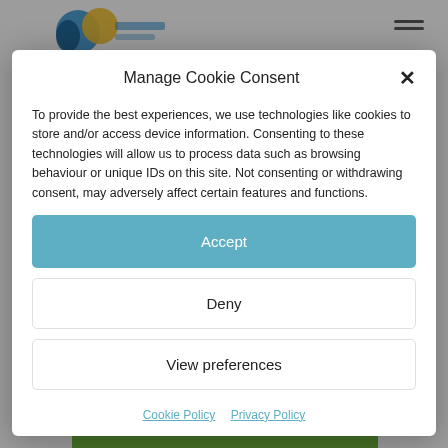[Figure (logo): Colorful logo with blue and yellow/gold circular shapes at top left of page]
[Figure (illustration): Hamburger menu icon (three horizontal lines) at top right]
Manage Cookie Consent
To provide the best experiences, we use technologies like cookies to store and/or access device information. Consenting to these technologies will allow us to process data such as browsing behaviour or unique IDs on this site. Not consenting or withdrawing consent, may adversely affect certain features and functions.
Accept
Deny
View preferences
Cookie Policy  Privacy Policy